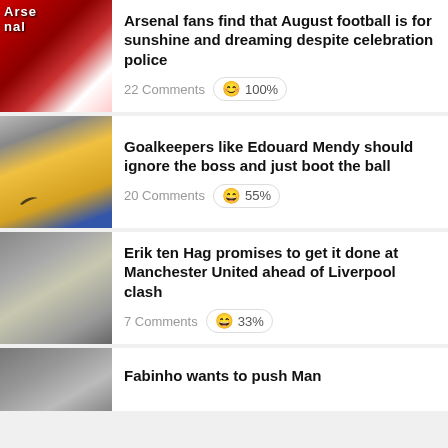Arsenal fans find that August football is for sunshine and dreaming despite celebration police
Goalkeepers like Edouard Mendy should ignore the boss and just boot the ball
Erik ten Hag promises to get it done at Manchester United ahead of Liverpool clash
Fabinho wants to push Man